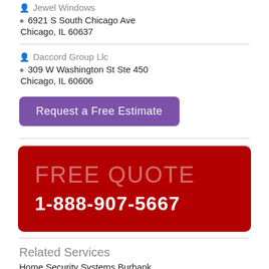Jewel Windows
6921 S South Chicago Ave
Chicago, IL 60637
Daccord Group Llc
309 W Washington St Ste 450
Chicago, IL 60606
[Figure (other): Purple button labeled 'Request a Free Estimate']
[Figure (other): Red box with 'FREE QUOTE' in large light red text and '1-888-907-5667' in bold white text]
Related Services
Home Security Systems Burbank